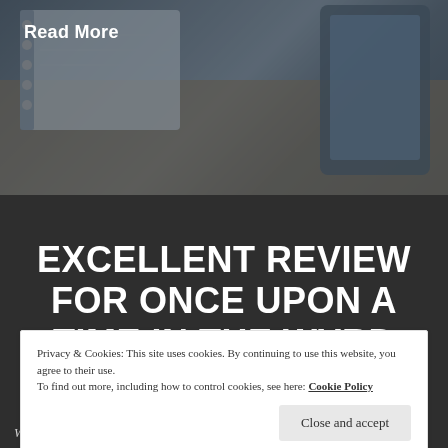[Figure (photo): Background photo of a notebook/planner on a desk, blurred, with dark overlay]
Read More
EXCELLENT REVIEW FOR ONCE UPON A TIME IN THE WYRD WEST AT ON SPEC!
Privacy & Cookies: This site uses cookies. By continuing to use this website, you agree to their use.
To find out more, including how to control cookies, see here: Cookie Policy
Close and accept
West is set in the post-apocalyptic Canadian